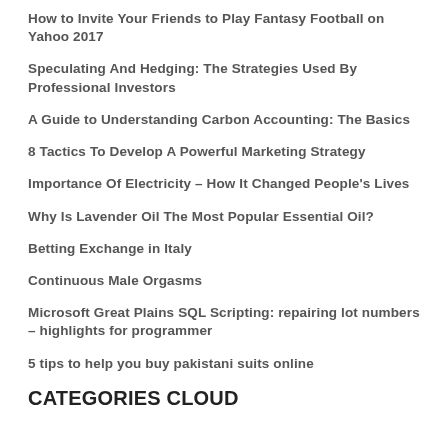How to Invite Your Friends to Play Fantasy Football on Yahoo 2017
Speculating And Hedging: The Strategies Used By Professional Investors
A Guide to Understanding Carbon Accounting: The Basics
8 Tactics To Develop A Powerful Marketing Strategy
Importance Of Electricity – How It Changed People's Lives
Why Is Lavender Oil The Most Popular Essential Oil?
Betting Exchange in Italy
Continuous Male Orgasms
Microsoft Great Plains SQL Scripting: repairing lot numbers – highlights for programmer
5 tips to help you buy pakistani suits online
CATEGORIES CLOUD